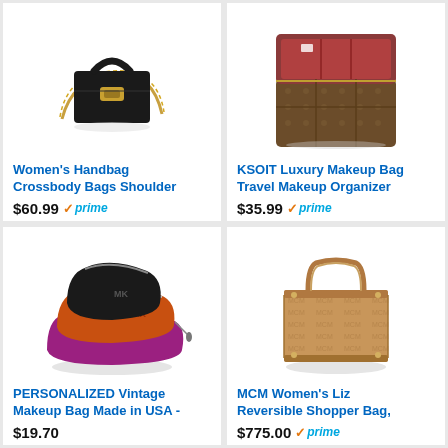[Figure (photo): Black women's handbag crossbody with gold chain and clasp]
Women's Handbag Crossbody Bags Shoulder
$60.99 prime
★★★ (8)
[Figure (photo): KSOIT luxury makeup travel organizer case, brown monogram pattern, open showing compartments with red interior]
KSOIT Luxury Makeup Bag Travel Makeup Organizer
$35.99 prime
★★★★★ (74)
[Figure (photo): Three makeup bags in black, orange, and purple/magenta velvet]
PERSONALIZED Vintage Makeup Bag Made in USA -
$19.70
★★★★★ (7)
[Figure (photo): MCM Women's Liz Reversible Shopper Bag in brown monogram pattern]
MCM Women's Liz Reversible Shopper Bag,
$775.00 prime
★★★★ (32)